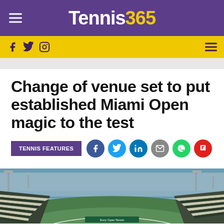Tennis365
Change of venue set to put established Miami Open magic to the test
TENNIS FEATURES
[Figure (photo): Aerial view of a packed Miami Open tennis stadium with green courts and blue sky]